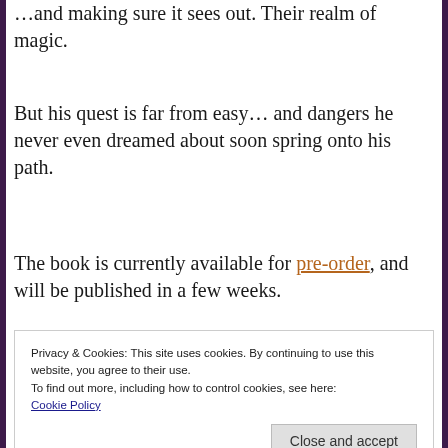…and making sure it sees out. Their realm of magic.
But his quest is far from easy… and dangers he never even dreamed about soon spring onto his path.
The book is currently available for pre-order, and will be published in a few weeks.
You are reading…
Privacy & Cookies: This site uses cookies. By continuing to use this website, you agree to their use.
To find out more, including how to control cookies, see here:
Cookie Policy

Close and accept
[Figure (photo): Partial view of book cover showing 'UNOFFICIAL' text in gold letters on dark background]